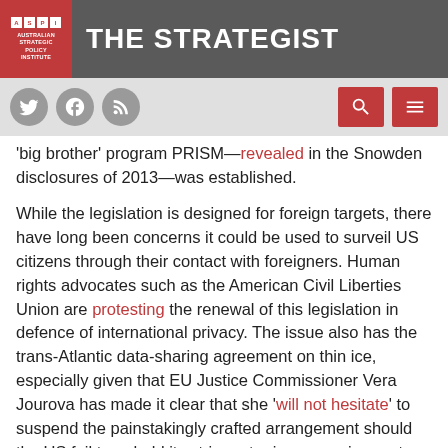ASPI — THE STRATEGIST
'big brother' program PRISM—revealed in the Snowden disclosures of 2013—was established.
While the legislation is designed for foreign targets, there have long been concerns it could be used to surveil US citizens through their contact with foreigners. Human rights advocates such as the American Civil Liberties Union are protesting the renewal of this legislation in defence of international privacy. The issue also has the trans-Atlantic data-sharing agreement on thin ice, especially given that EU Justice Commissioner Vera Jourova has made it clear that she 'will not hesitate' to suspend the painstakingly crafted arrangement should the US fail to uphold its stringent privacy requirements.
That task may be even more difficult after WikiLeaks' overnight release of a dossier, dubbed 'Vault 7', detailing the CIA's cyber